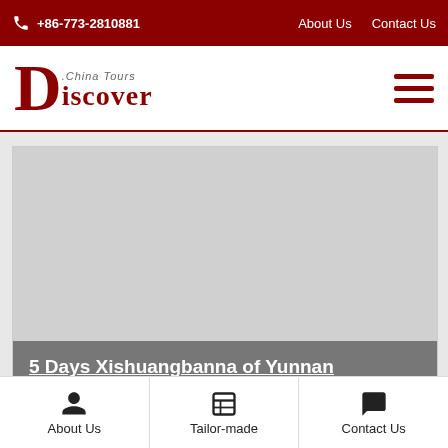+86-773-2810881  About Us  Contact Us
[Figure (logo): Discover China Tours logo with large red D and 'iscover' text, 'China Tours' subtitle]
[Figure (illustration): Large gray placeholder image area for tour photo]
5 Days Xishuangbanna of Yunnan Highlights Tour
About Us  Tailor-made  Contact Us